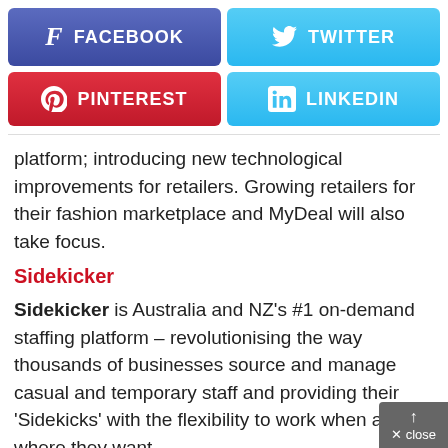[Figure (infographic): Four social media share buttons in a 2x2 grid: Facebook (blue-purple), Twitter (light blue), Pinterest (red), LinkedIn (light blue)]
platform; introducing new technological improvements for retailers. Growing retailers for their fashion marketplace and MyDeal will also take focus.
Sidekicker
Sidekicker is Australia and NZ's #1 on-demand staffing platform – revolutionising the way thousands of businesses source and manage casual and temporary staff and providing their 'Sidekicks' with the flexibility to work when and where they want.